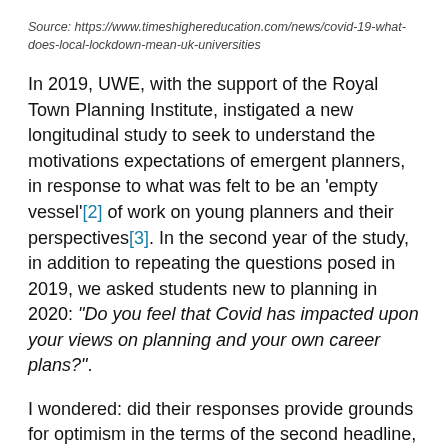Source: https://www.timeshighereducation.com/news/covid-19-what-does-local-lockdown-mean-uk-universities
In 2019, UWE, with the support of the Royal Town Planning Institute, instigated a new longitudinal study to seek to understand the motivations expectations of emergent planners, in response to what was felt to be an 'empty vessel'[2] of work on young planners and their perspectives[3]. In the second year of the study, in addition to repeating the questions posed in 2019, we asked students new to planning in 2020: “Do you feel that Covid has impacted upon your views on planning and your own career plans?”.
I wondered: did their responses provide grounds for optimism in the terms of the second headline, or reveal concerns about their future careers, more aligned with the first headline? With a response from over 220 undergraduate and postgraduate students